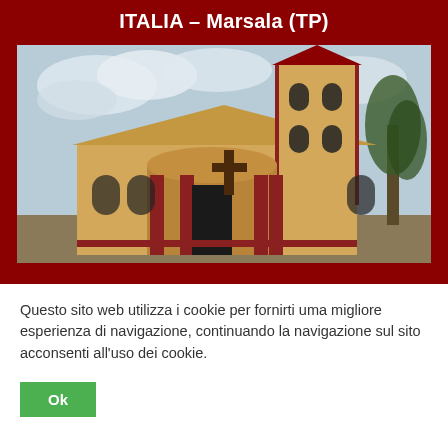ITALIA – Marsala (TP)
[Figure (photo): Photo of a church building with a tall bell tower, arched entrance with red columns, and a large cross on the facade. The building is painted in warm yellow/orange tones. Trees are visible in the background under a cloudy sky.]
Questo sito web utilizza i cookie per fornirti uma migliore esperienza di navigazione, continuando la navigazione sul sito acconsenti all'uso dei cookie.
Ok